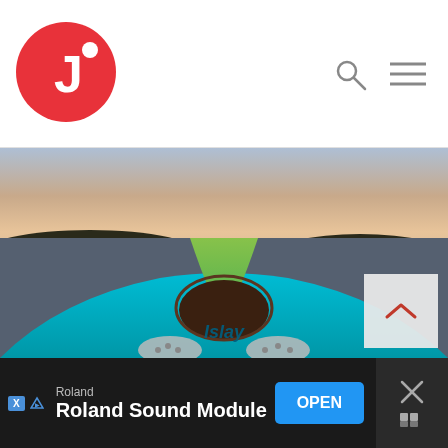[Figure (logo): Circular red logo with white letter J and a dot, app/brand logo]
[Figure (photo): First-person view from a teal/aqua kayak (branded Islay) on calm water at sunset, with forested islands in the background and feet in sneakers visible in foreground]
Roland
Roland Sound Module
OPEN